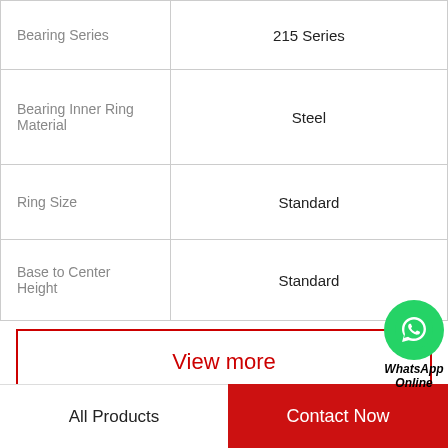| Property | Value |
| --- | --- |
| Bearing Series | 215 Series |
| Bearing Inner Ring Material | Steel |
| Ring Size | Standard |
| Base to Center Height | Standard |
View more
Company Profile
TGH Roller Bearing Co., Ltd
All Products   Contact Now